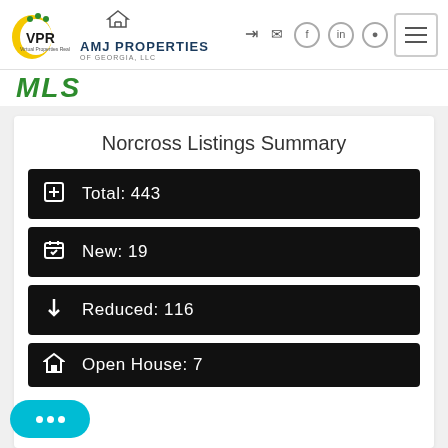VPR Virtual Properties Realty | AMJ PROPERTIES OF GEORGIA, LLC
MLS
Norcross Listings Summary
Total: 443
New: 19
Reduced: 116
Open House: 7